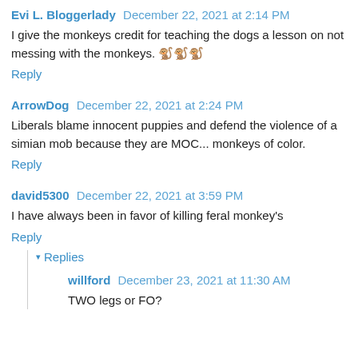Evi L. Bloggerlady December 22, 2021 at 2:14 PM
I give the monkeys credit for teaching the dogs a lesson on not messing with the monkeys. 🐒🐒🐒
Reply
ArrowDog December 22, 2021 at 2:24 PM
Liberals blame innocent puppies and defend the violence of a simian mob because they are MOC... monkeys of color.
Reply
david5300 December 22, 2021 at 3:59 PM
I have always been in favor of killing feral monkey's
Reply
▾ Replies
willford December 23, 2021 at 11:30 AM
TWO legs or FO?